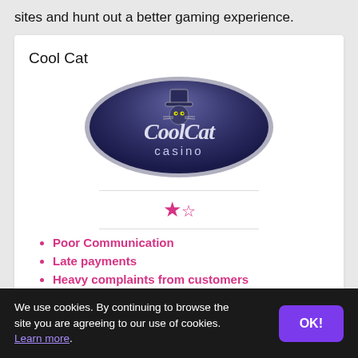sites and hunt out a better gaming experience.
Cool Cat
[Figure (logo): Cool Cat Casino logo — dark navy oval with stylized script text 'CoolCat' and 'casino' below, featuring a cartoon cat mascot in a top hat]
Poor Communication
Late payments
Heavy complaints from customers
We use cookies. By continuing to browse the site you are agreeing to our use of cookies. Learn more.